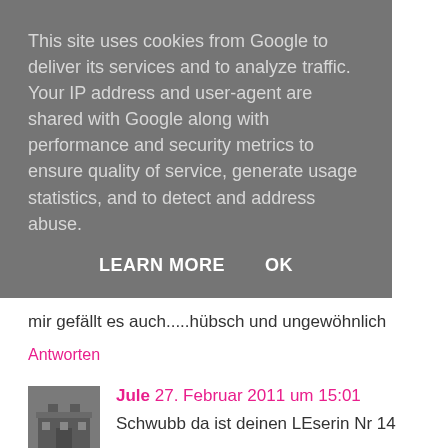This site uses cookies from Google to deliver its services and to analyze traffic. Your IP address and user-agent are shared with Google along with performance and security metrics to ensure quality of service, generate usage statistics, and to detect and address abuse.
LEARN MORE    OK
mir gefällt es auch.....hübsch und ungewöhnlich
Antworten
[Figure (photo): Small square avatar image showing a building/castle]
Jule 27. Februar 2011 um 15:01
Schwubb da ist deinen LEserin Nr 14
Liebe Grüße Jule
Schau doch mal in meiner "kunterbunten Welt" vorbei
Antworten